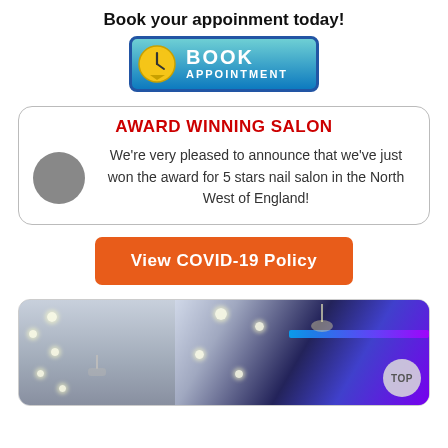Book your appoinment today!
[Figure (illustration): Book Appointment button with teal gradient background and clock icon]
[Figure (infographic): Award Winning Salon box with red heading, grey circle placeholder for logo, and text announcing 5 stars nail salon award in the North West of England]
[Figure (illustration): Orange button reading View COVID-19 Policy]
[Figure (photo): Interior photo of a nail salon with white ceilings, recessed lighting, chandelier, and blue LED accent lighting]